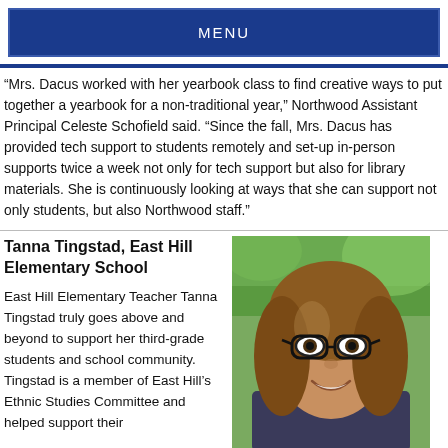MENU
“Mrs. Dacus worked with her yearbook class to find creative ways to put together a yearbook for a non-traditional year,” Northwood Assistant Principal Celeste Schofield said. “Since the fall, Mrs. Dacus has provided tech support to students remotely and set-up in-person supports twice a week not only for tech support but also for library materials. She is continuously looking at ways that she can support not only students, but also Northwood staff.”
Tanna Tingstad, East Hill Elementary School
East Hill Elementary Teacher Tanna Tingstad truly goes above and beyond to support her third-grade students and school community. Tingstad is a member of East Hill’s Ethnic Studies Committee and helped support their
[Figure (photo): Portrait photo of Tanna Tingstad, a woman with long brown hair and glasses, smiling outdoors with greenery in the background]